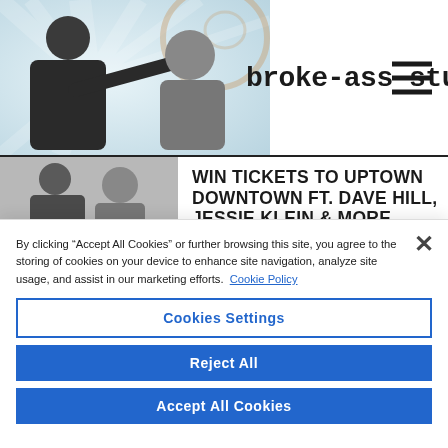broke-ass stuart
WIN TICKETS TO UPTOWN DOWNTOWN FT. DAVE HILL, JESSIE KLEIN & MORE
By clicking “Accept All Cookies” or further browsing this site, you agree to the storing of cookies on your device to enhance site navigation, analyze site usage, and assist in our marketing efforts. Cookie Policy
Cookies Settings
Reject All
Accept All Cookies